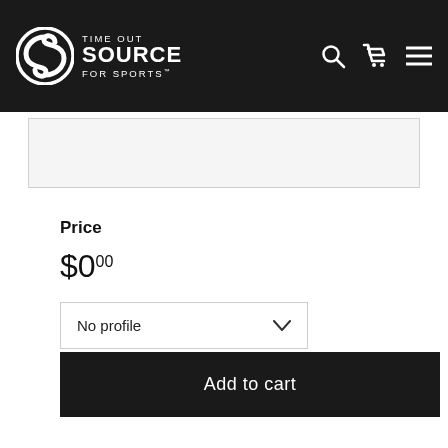TIME OUT SOURCE FOR SPORTS
[Figure (other): Product image placeholder area (partially visible, gray background with border)]
Price
$0.00
No profile
Add to cart